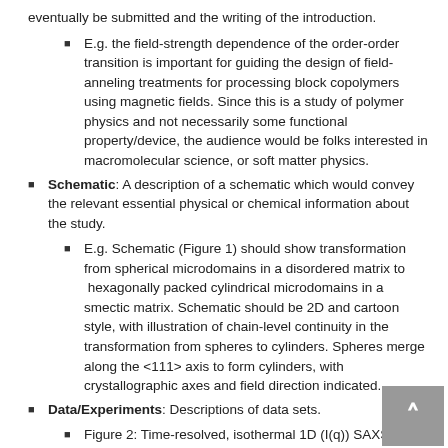eventually be submitted and the writing of the introduction.
E.g. the field-strength dependence of the order-order transition is important for guiding the design of field-anneling treatments for processing block copolymers using magnetic fields. Since this is a study of polymer physics and not necessarily some functional property/device, the audience would be folks interested in macromolecular science, or soft matter physics.
Schematic: A description of a schematic which would convey the relevant essential physical or chemical information about the study.
E.g. Schematic (Figure 1) should show transformation from spherical microdomains in a disordered matrix to hexagonally packed cylindrical microdomains in a smectic matrix. Schematic should be 2D and cartoon style, with illustration of chain-level continuity in the transformation from spheres to cylinders. Spheres merge along the <111> axis to form cylinders, with crystallographic axes and field direction indicated.
Data/Experiments: Descriptions of data sets.
Figure 2: Time-resolved, isothermal 1D (I(q)) SAXS data spanning tranformation, with appropriately